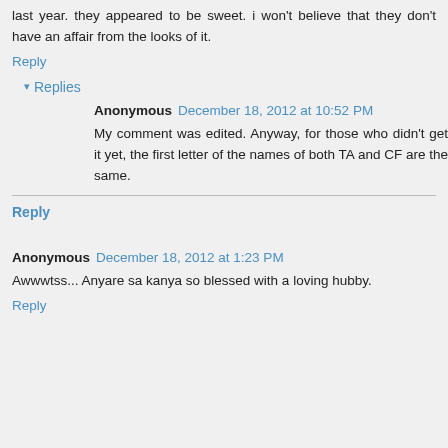last year. they appeared to be sweet. i won't believe that they don't have an affair from the looks of it.
Reply
▾ Replies
Anonymous December 18, 2012 at 10:52 PM
My comment was edited. Anyway, for those who didn't get it yet, the first letter of the names of both TA and CF are the same.
Reply
Anonymous December 18, 2012 at 1:23 PM
Awwwtss... Anyare sa kanya so blessed with a loving hubby.
Reply